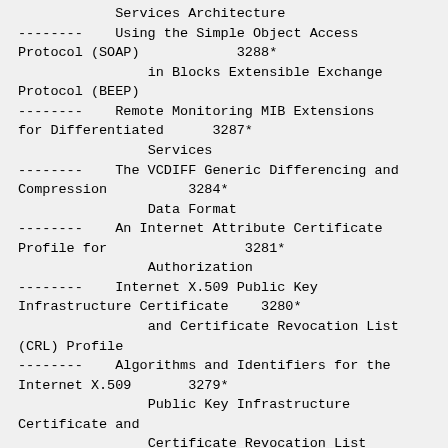Services Architecture
--------    Using the Simple Object Access Protocol (SOAP)            3288*
                in Blocks Extensible Exchange Protocol (BEEP)
--------    Remote Monitoring MIB Extensions for Differentiated      3287*
                Services
--------    The VCDIFF Generic Differencing and Compression          3284*
                Data Format
--------    An Internet Attribute Certificate Profile for            3281*
                Authorization
--------    Internet X.509 Public Key Infrastructure Certificate    3280*
                and Certificate Revocation List (CRL) Profile
--------    Algorithms and Identifiers for the Internet X.509       3279*
                Public Key Infrastructure Certificate and
                Certificate Revocation List